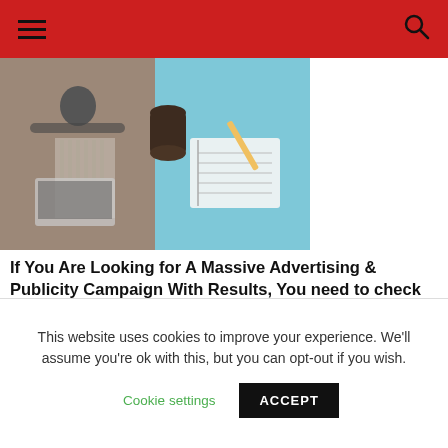Navigation header with hamburger menu and search icon
[Figure (photo): Split image: left half shows a person working on a laptop; right half shows a notebook, pencil, and coffee mug on a blue desk surface]
If You Are Looking for A Massive Advertising & Publicity Campaign With Results, You need to check this Out.
[Figure (photo): Tablet device displaying a 'Press Release' banner in red/white text on a red background, with a glass of water on the left side]
This website uses cookies to improve your experience. We'll assume you're ok with this, but you can opt-out if you wish. Cookie settings ACCEPT